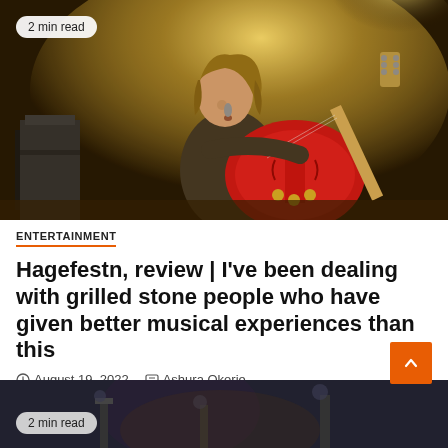[Figure (photo): Concert photo of a musician with long hair playing a red semi-hollow electric guitar and singing into a microphone on a stage with warm yellow stage lighting]
2 min read
ENTERTAINMENT
Hagefestn, review | I've been dealing with grilled stone people who have given better musical experiences than this
August 19, 2022   Ashura Okorie
[Figure (photo): Dark concert photo, partially visible at the bottom of the page]
2 min read